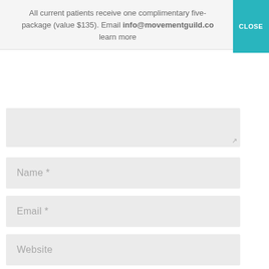All current patients receive one complimentary five- package (value $135). Email info@movementguild.co learn more
Name *
Email *
Website
Save my name, email, and website in this browser for the next time I comment.